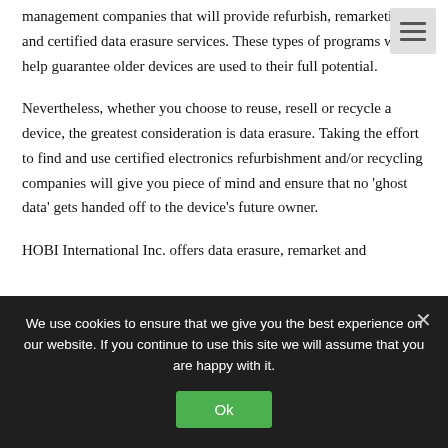management companies that will provide refurbish, remarketing and certified data erasure services. These types of programs will help guarantee older devices are used to their full potential.
Nevertheless, whether you choose to reuse, resell or recycle a device, the greatest consideration is data erasure. Taking the effort to find and use certified electronics refurbishment and/or recycling companies will give you piece of mind and ensure that no 'ghost data' gets handed off to the device's future owner.
HOBI International Inc. offers data erasure, remarket and
We use cookies to ensure that we give you the best experience on our website. If you continue to use this site we will assume that you are happy with it.